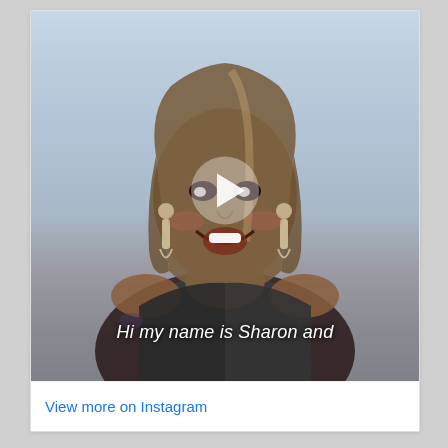[Figure (photo): A smiling woman with long brown hair wearing a dark off-shoulder top and tassel earrings, posed against a light blue-gray background. A white play button triangle overlay is centered on the image. White italic subtitle text reads 'Hi my name is Sharon and' at the bottom of the photo.]
View more on Instagram